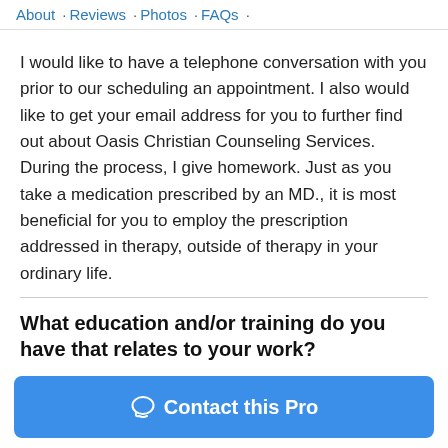About · Reviews · Photos · FAQs ·
I would like to have a telephone conversation with you prior to our scheduling an appointment. I also would like to get your email address for you to further find out about Oasis Christian Counseling Services. During the process, I give homework. Just as you take a medication prescribed by an MD., it is most beneficial for you to employ the prescription addressed in therapy, outside of therapy in your ordinary life.
What education and/or training do you have that relates to your work?
I attended Liberty University where I was trained in Christian Counseling. I have earned certifications in